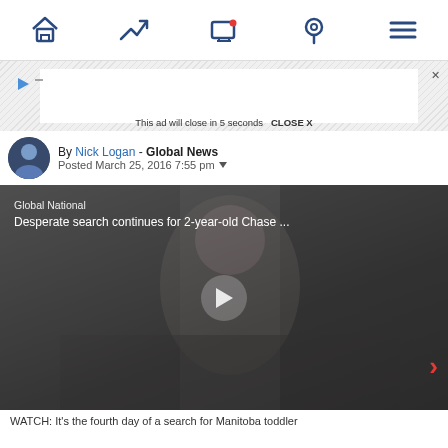Navigation bar with home, trending, notifications, location, and menu icons
[Figure (screenshot): Advertisement banner with diagonal hatched background, ad close button, and 'This ad will close in 5 seconds CLOSE X' overlay text]
By Nick Logan - Global News
Posted March 25, 2016 7:55 pm
[Figure (screenshot): Video player showing Global National segment titled 'Desperate search continues for 2-year-old Chase ...' with a child in foreground, play button overlay, and next arrow on right]
WATCH: It's the fourth day of a search for Manitoba toddler